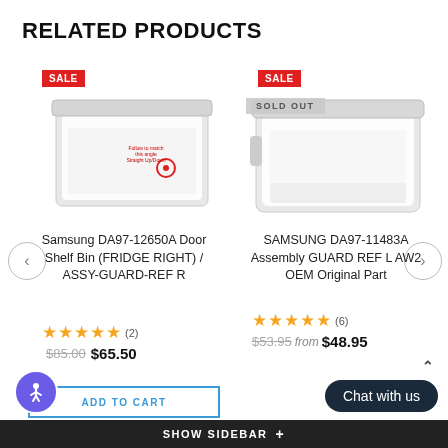RELATED PRODUCTS
[Figure (photo): Samsung DA97-12650A Door Shelf Bin product image - transparent bin with small red circle annotation]
Samsung DA97-12650A Door Shelf Bin (FRIDGE RIGHT) / ASSY-GUARD-REF R
★★★★★ (2)
$85.00 $65.50
[Figure (photo): SAMSUNG DA97-11483A Assembly GUARD REF L AW2 OEM Original Part product image - white/clear bin with SOLD OUT overlay]
SAMSUNG DA97-11483A Assembly GUARD REF L AW2 OEM Original Part
★★★★★ (6)
$53.95 from $48.95
ADD TO CART
Chat with us
SHOW SIDEBAR +